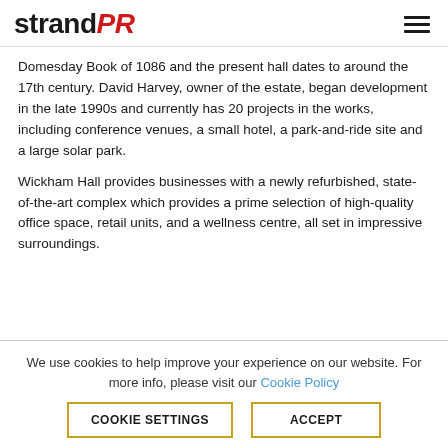strandPR
Domesday Book of 1086 and the present hall dates to around the 17th century. David Harvey, owner of the estate, began development in the late 1990s and currently has 20 projects in the works, including conference venues, a small hotel, a park-and-ride site and a large solar park.
Wickham Hall provides businesses with a newly refurbished, state-of-the-art complex which provides a prime selection of high-quality office space, retail units, and a wellness centre, all set in impressive surroundings.
We use cookies to help improve your experience on our website. For more info, please visit our Cookie Policy
COOKIE SETTINGS | ACCEPT